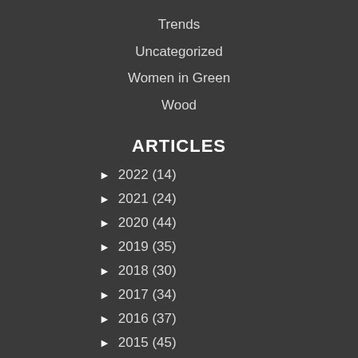Trends
Uncategorized
Women in Green
Wood
ARTICLES
▶ 2022 (14)
▶ 2021 (24)
▶ 2020 (44)
▶ 2019 (35)
▶ 2018 (30)
▶ 2017 (34)
▶ 2016 (37)
▶ 2015 (45)